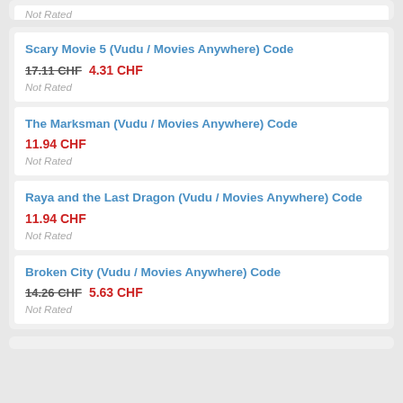Not Rated
Scary Movie 5 (Vudu / Movies Anywhere) Code
17.11 CHF  4.31 CHF
Not Rated
The Marksman (Vudu / Movies Anywhere) Code
11.94 CHF
Not Rated
Raya and the Last Dragon (Vudu / Movies Anywhere) Code
11.94 CHF
Not Rated
Broken City (Vudu / Movies Anywhere) Code
14.26 CHF  5.63 CHF
Not Rated